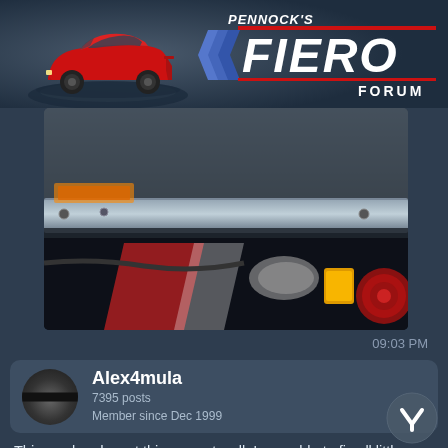[Figure (logo): Pennock's Fiero Forum logo with red Fiero car on left and stylized FIERO text with blue chevron on right]
[Figure (photo): Close-up photo of car underside/chassis components including metal framing and mechanical parts]
09:03 PM
Alex4mula
7395 posts
Member since Dec 1999
This weekend most things went well. I was able to fix all little issues (except exhaust), be done with parts fabrication and finish connecting the rest of the things. Put in all fluids, hooked ECM, battery, moved crank to 6° BTDC and fired it up. It started on first try. Big relief... But then the PROM was corrupted and was running like in limp mode. Went back to an old known good program and it ran better. Tried another PROM and adjusted timing (liked more like 12° than 6°) and it was idling